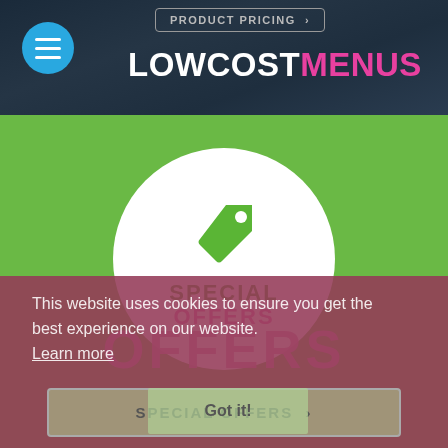PRODUCT PRICING >
LOWCOSTMENUS
[Figure (illustration): White circle with a green price tag icon, containing text SPECIAL OFFERS in green and pink on a green background]
OFFERS
SPECIAL OFFERS >
This website uses cookies to ensure you get the best experience on our website. Learn more
Got it!